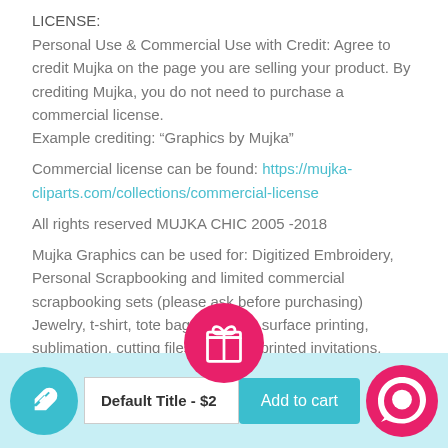LICENSE:
Personal Use & Commercial Use with Credit: Agree to credit Mujka on the page you are selling your product. By crediting Mujka, you do not need to purchase a commercial license.
Example crediting: “Graphics by Mujka”
Commercial license can be found: https://mujka-cliparts.com/collections/commercial-license
All rights reserved MUJKA CHIC 2005 -2018
Mujka Graphics can be used for: Digitized Embroidery, Personal Scrapbooking and limited commercial scrapbooking sets (please ask before purchasing) Jewelry, t-shirt, tote bag and other surface printing, sublimation, cutting files, digital or printed invitations, chore charts and teacher resources, Designer cookies and cakes, pe...
Default Title - $2... | Add to cart